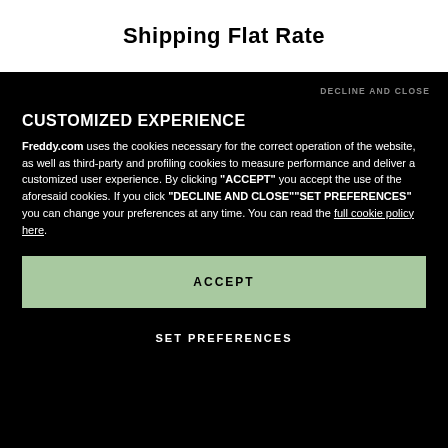Shipping Flat Rate
DECLINE AND CLOSE
CUSTOMIZED EXPERIENCE
Freddy.com uses the cookies necessary for the correct operation of the website, as well as third-party and profiling cookies to measure performance and deliver a customized user experience. By clicking "ACCEPT" you accept the use of the aforesaid cookies. If you click "DECLINE AND CLOSE""SET PREFERENCES" you can change your preferences at any time. You can read the full cookie policy here.
ACCEPT
SET PREFERENCES